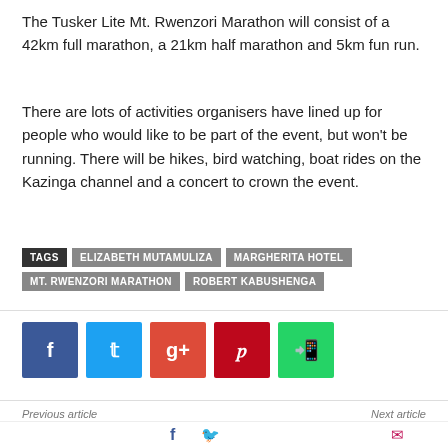The Tusker Lite Mt. Rwenzori Marathon will consist of a 42km full marathon, a 21km half marathon and 5km fun run.
There are lots of activities organisers have lined up for people who would like to be part of the event, but won't be running. There will be hikes, bird watching, boat rides on the Kazinga channel and a concert to crown the event.
TAGS: ELIZABETH MUTAMULIZA | MARGHERITA HOTEL | MT. RWENZORI MARATHON | ROBERT KABUSHENGA
[Figure (other): Social media share buttons: Facebook (blue), Twitter (light blue), Google+ (red), Pinterest (dark red), WhatsApp (green)]
Previous article
Crested Cranes final squad for TotalEnergies Women Africa Cup of Nations 2022
Next article
Challenge League B: Strong finish in sight as